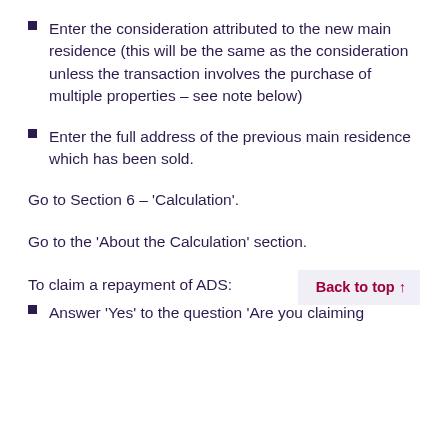Enter the consideration attributed to the new main residence (this will be the same as the consideration unless the transaction involves the purchase of multiple properties – see note below)
Enter the full address of the previous main residence which has been sold.
Go to Section 6 – 'Calculation'.
Go to the 'About the Calculation' section.
To claim a repayment of ADS:
Answer 'Yes' to the question 'Are you claiming